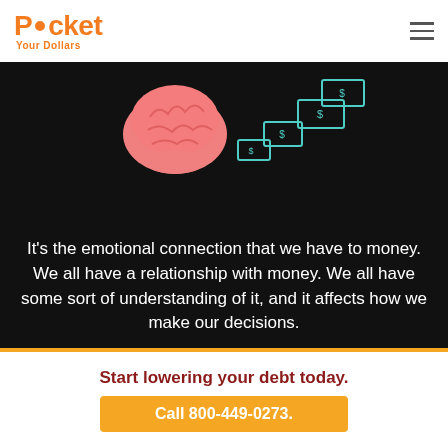Pocket Your Dollars
[Figure (illustration): Brain icon with floating money/dollar bill icons on black background]
It's the emotional connection that we have to money. We all have a relationship with money. We all have some sort of understanding of it, and it affects how we make our decisions.
Start lowering your debt today.
Call 800-449-0273.